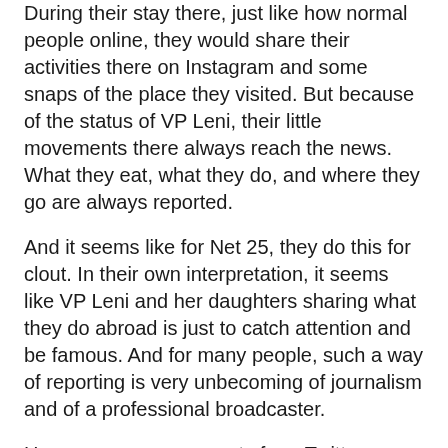During their stay there, just like how normal people online, they would share their activities there on Instagram and some snaps of the place they visited. But because of the status of VP Leni, their little movements there always reach the news. What they eat, what they do, and where they go are always reported.
And it seems like for Net 25, they do this for clout. In their own interpretation, it seems like VP Leni and her daughters sharing what they do abroad is just to catch attention and be famous. And for many people, such a way of reporting is very unbecoming of journalism and of a professional broadcaster.
Here are some comments from Twitter:
from a professional reporter to a troll real quick.
Alex santos , from a professional reporter to a troll real quick. 🤯🤯
— Wyatt Marino ⚓ 🌹 💕 (@JmWyatt5) May 24, 2022
Sorry, decided not to share the video because what we